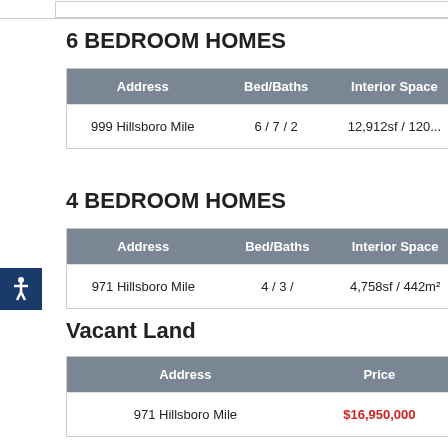6 BEDROOM HOMES
| Address | Bed/Baths | Interior Space |
| --- | --- | --- |
| 999 Hillsboro Mile | 6 / 7 / 2 | 12,912sf / 120... |
4 BEDROOM HOMES
| Address | Bed/Baths | Interior Space |
| --- | --- | --- |
| 971 Hillsboro Mile | 4 / 3 / | 4,758sf / 442m² |
Vacant Land
| Address | Price |
| --- | --- |
| 971 Hillsboro Mile | $16,950,000 |